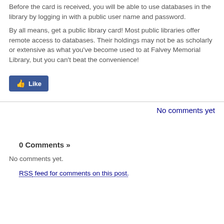Before the card is received, you will be able to use databases in the library by logging in with a public user name and password.
By all means, get a public library card!  Most public libraries offer remote access to databases.  Their holdings may not be as scholarly or extensive as what you’ve become used to at Falvey Memorial Library, but you can’t beat the convenience!
[Figure (other): Facebook Like button]
No comments yet
0 Comments »
No comments yet.
RSS feed for comments on this post.